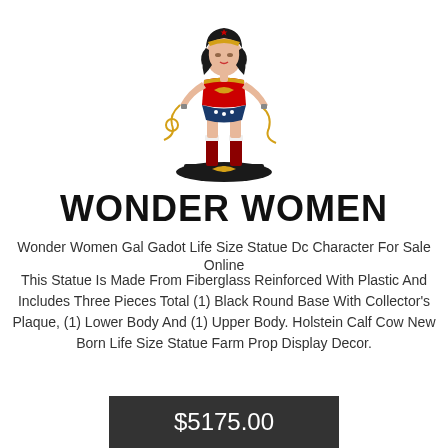[Figure (photo): Wonder Woman Gal Gadot life size statue figurine standing on a black round base with yellow eagle emblem. The statue shows Wonder Woman in classic costume with red and gold top, blue star-spangled bottom, red boots, gold tiara, and holding a golden lasso.]
WONDER WOMEN
Wonder Women Gal Gadot Life Size Statue Dc Character For Sale Online
This Statue Is Made From Fiberglass Reinforced With Plastic And Includes Three Pieces Total (1) Black Round Base With Collector's Plaque, (1) Lower Body And (1) Upper Body. Holstein Calf Cow New Born Life Size Statue Farm Prop Display Decor.
$5175.00